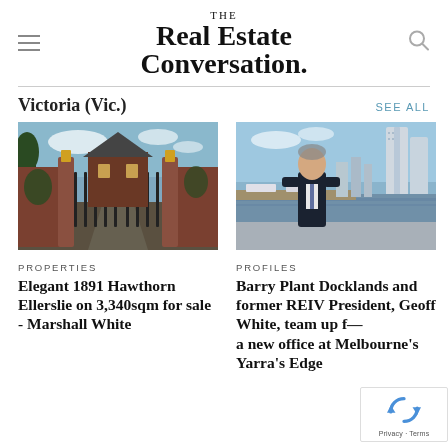THE Real Estate Conversation.
Victoria (Vic.)
SEE ALL
[Figure (photo): Exterior of an elegant 1891 heritage property in Hawthorn, showing ornate brick gateposts and iron gates with lanterns, driveway leading to a Victorian mansion.]
PROPERTIES
Elegant 1891 Hawthorn Ellerslie on 3,340sqm for sale - Marshall White
[Figure (photo): Professional portrait of a man in a dark suit standing at a marina with the Melbourne skyline and modern high-rise towers visible in the background.]
PROFILES
Barry Plant Docklands and former REIV President, Geoff White, team up for a new office at Melbourne's Yarra's Edge